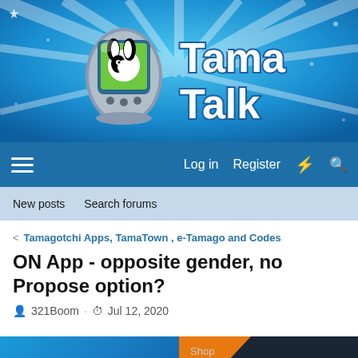[Figure (screenshot): TamaTalk website header banner with blue sparkle background, Tamagotchi device on left and TamaTalk logo on right]
Log in  Register
New posts  Search forums
< Tamagotchi Apps, TamaTown , e-Tamago and Codes
ON App - opposite gender, no Propose option?
321Boom · Jul 12, 2020
[Figure (infographic): Two advertisement banners: left shows 'ADVERTISE WITH US' on blue background with Tamagotchi character, right shows 'Shop deals on amazon' on dark/orange background]